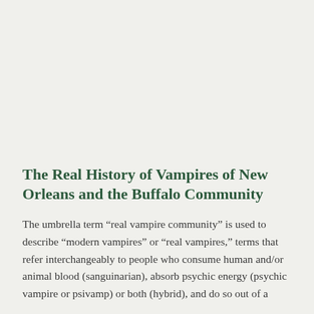The Real History of Vampires of New Orleans and the Buffalo Community
The umbrella term “real vampire community” is used to describe “modern vampires” or “real vampires,” terms that refer interchangeably to people who consume human and/or animal blood (sanguinarian), absorb psychic energy (psychic vampire or psivamp) or both (hybrid), and do so out of a